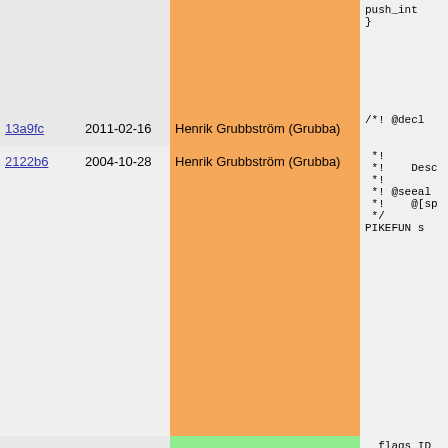| Hash | Date | Author | Code |
| --- | --- | --- | --- |
|  |  |  | push_int
} |
| 13a9fc | 2011-02-16 | Henrik Grubbström (Grubba) | /*! @decl |
| 2122b6 | 2004-10-28 | Henrik Grubbström (Grubba) | *!
*!    Desc
*!
*! @seeal
*!    @[sp
*/
PIKEFUN s |
| 95489a | 2008-06-29 | Martin Nilsson | flags ID |
| 2122b6 | 2004-10-28 | Henrik Grubbström (Grubba) | {
  if (!TH |
| 75367d | 2014-08-22 | Arne Goedeke | push_s |
| 2122b6 | 2004-10-28 | Henrik Grubbström (Grubba) | } else : |
| 4b8ebf | 2008-03-09 | Henrik Grubbström (Grubba) | struct |
| 2122b6 | 2004-10-28 | Henrik Grubbström (Grubba) | if (Th |
| 75367d | 2014-08-22 | Arne Goedeke | push |
| 2122b6 | 2004-10-28 | Henrik Grubbström (Grubba) | } else |
| 75367d | 2014-08-22 | Arne Goedeke | push |
| 2122b6 | 2004-10-28 | Henrik Grubbström (Grubba) | pus |